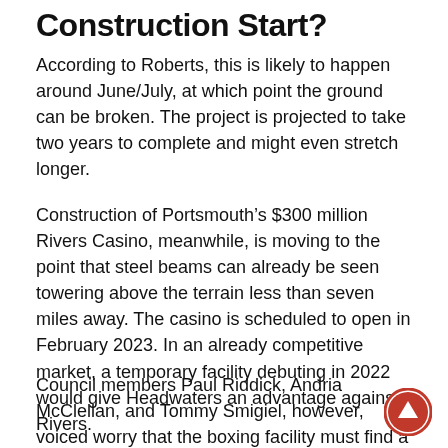Construction Start?
According to Roberts, this is likely to happen around June/July, at which point the ground can be broken. The project is projected to take two years to complete and might even stretch longer.
Construction of Portsmouth’s $300 million Rivers Casino, meanwhile, is moving to the point that steel beams can already be seen towering above the terrain less than seven miles away. The casino is scheduled to open in February 2023. In an already competitive market, a temporary facility debuting in 2022 would give Headwaters an advantage against Rivers.
Council members Paul Riddick, Andria McClellan, and Tommy Smigiel, however, voiced worry that the boxing facility must find a new location before the site is turned